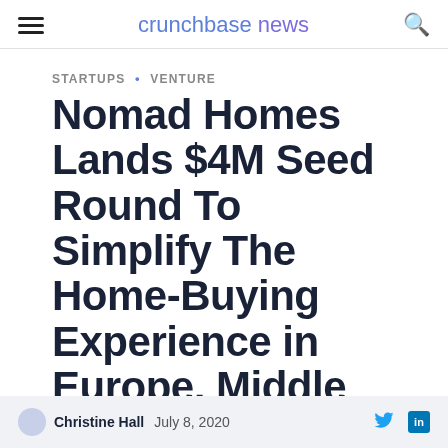crunchbase news
STARTUPS • VENTURE
Nomad Homes Lands $4M Seed Round To Simplify The Home-Buying Experience in Europe, Middle East
Christine Hall  July 8, 2020